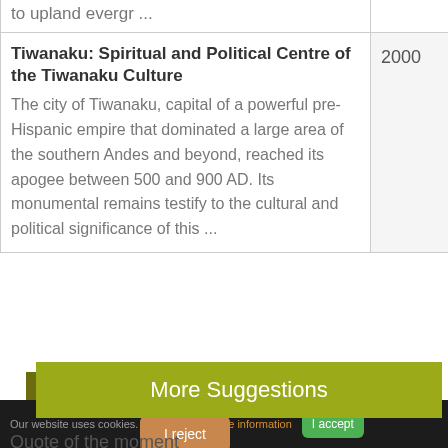| Name | Year |
| --- | --- |
| to upland evergr ... |  |
| Tiwanaku: Spiritual and Political Centre of the Tiwanaku Culture
The city of Tiwanaku, capital of a powerful pre-Hispanic empire that dominated a large area of the southern Andes and beyond, reached its apogee between 500 and 900 AD. Its monumental remains testify to the cultural and political significance of this ... | 2000 |
More Suggestions
Our website uses cookies. Click here for more information  I accept
I reject
Quote of the moment